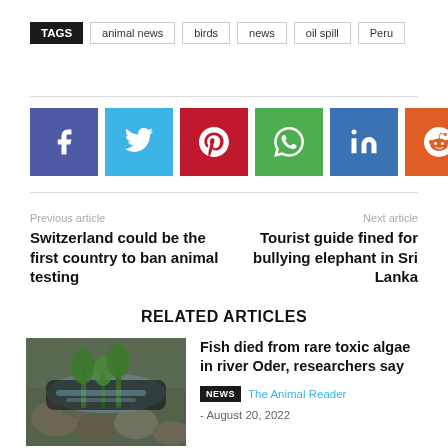TAGS  animal news  birds  news  oil spill  Peru
[Figure (infographic): Row of social media share buttons: Facebook (purple), Twitter (blue), Pinterest (red), WhatsApp (green), LinkedIn (blue), Reddit (orange), Email (black), Telegram (blue)]
Previous article
Switzerland could be the first country to ban animal testing
Next article
Tourist guide fined for bullying elephant in Sri Lanka
RELATED ARTICLES
[Figure (photo): Photo of rocks and water with green plants, related to fish/river article]
Fish died from rare toxic algae in river Oder, researchers say
NEWS  The Animal Reader - August 20, 2022